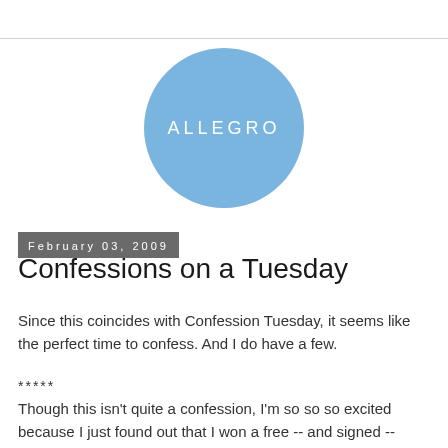[Figure (logo): Blue circle with white text 'ALLEGRO' in spaced capitals]
February 03, 2009
Confessions on a Tuesday
Since this coincides with Confession Tuesday, it seems like the perfect time to confess. And I do have a few.
*****
Though this isn't quite a confession, I'm so so so excited because I just found out that I won a free -- and signed -- copy of Justina Chen Headley's novel "North of Beautiful"! I've been dying to read this since forever, so I'm feeling